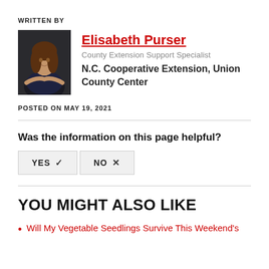WRITTEN BY
[Figure (photo): Portrait photo of Elisabeth Purser, a woman with long brown hair, wearing a dark navy polo shirt, arms crossed, against a dark background.]
Elisabeth Purser
County Extension Support Specialist
N.C. Cooperative Extension, Union County Center
POSTED ON MAY 19, 2021
Was the information on this page helpful?
YES ✓   NO ✕
YOU MIGHT ALSO LIKE
Will My Vegetable Seedlings Survive This Weekend's